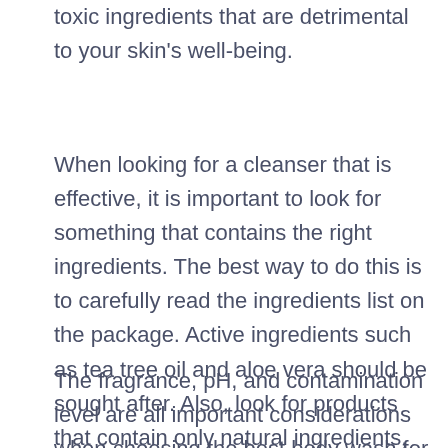toxic ingredients that are detrimental to your skin's well-being.
When looking for a cleanser that is effective, it is important to look for something that contains the right ingredients. The best way to do this is to carefully read the ingredients list on the package. Active ingredients such as tea tree oil and aloe vera should be sought after. Also, look for products that contain only natural ingredients, as these are the safest and most effective.
The fragrance, pH, and contamination level are all important considerations when choosing the best body wash for acne. Any product claiming to be the best body wash for acne should be completely free of any scent, including essential oils. A wash